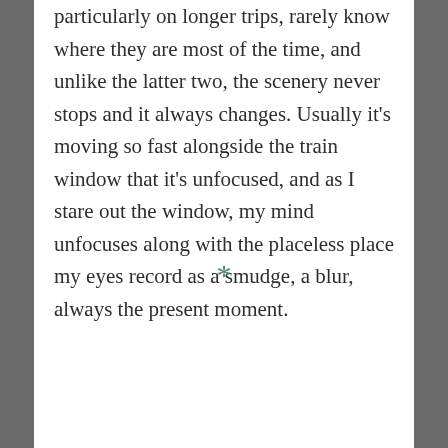particularly on longer trips, rarely know where they are most of the time, and unlike the latter two, the scenery never stops and it always changes. Usually it's moving so fast alongside the train window that it's unfocused, and as I stare out the window, my mind unfocuses along with the placeless place my eyes record as a smudge, a blur, always the present moment.
*